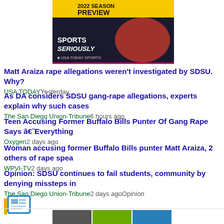[Figure (photo): Sports promotional image: 2022 Season Preview, Sports Seriously, USA TODAY Sports]
Matt Araiza rape allegations weren't investigated by SDSU. Why? — USA TODAY Yesterday
As DA considers SDSU gang-rape allegations, experts explain why such cases... — The San Diego Union-Tribune 6 hours ago
Teen Accusing Former Buffalo Bills Punter Of Gang Rape Says â€˜Everything... — Oxygen 2 days ago
Woman accusing former Buffalo Bills punter Matt Araiza, 2 others of rape spea... — WPVI-TV 2 days ago
Opinion: SDSU continues to fail students, community by denying missteps in... — The San Diego Union-Tribune 2 days ago Opinion
[Figure (logo): News aggregator logo icon]
[Figure (photo): Thumbnail images at bottom of page]